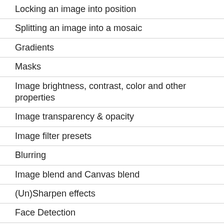Locking an image into position
Splitting an image into a mosaic
Gradients
Masks
Image brightness, contrast, color and other properties
Image transparency & opacity
Image filter presets
Blurring
Image blend and Canvas blend
(Un)Sharpen effects
Face Detection
Image similarity detection
Photo time gap timeline